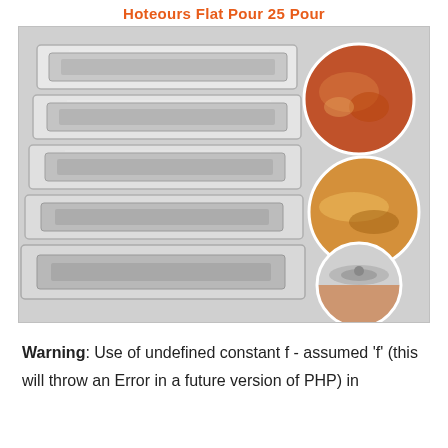Hoteours Flat Pour 25 Pour
[Figure (photo): Stacked stainless steel hotel pans (5 pans stacked), with three circular inset photos on the right showing food: a braised/stewed dish, a baked fish dish, and a pan with a lid.]
Warning: Use of undefined constant f - assumed 'f' (this will throw an Error in a future version of PHP) in